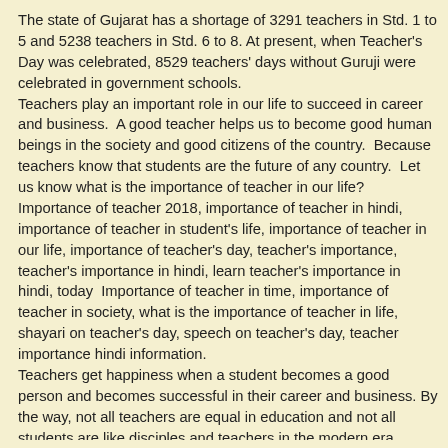The state of Gujarat has a shortage of 3291 teachers in Std. 1 to 5 and 5238 teachers in Std. 6 to 8. At present, when Teacher's Day was celebrated, 8529 teachers' days without Guruji were celebrated in government schools.
Teachers play an important role in our life to succeed in career and business.  A good teacher helps us to become good human beings in the society and good citizens of the country.  Because teachers know that students are the future of any country.  Let us know what is the importance of teacher in our life?
Importance of teacher 2018, importance of teacher in hindi, importance of teacher in student's life, importance of teacher in our life, importance of teacher's day, teacher's importance, teacher's importance in hindi, learn teacher's importance in hindi, today  Importance of teacher in time, importance of teacher in society, what is the importance of teacher in life, shayari on teacher's day, speech on teacher's day, teacher importance hindi information.
Teachers get happiness when a student becomes a good person and becomes successful in their career and business. By the way, not all teachers are equal in education and not all students are like disciples and teachers in the modern era. While some teachers are great who are always in the hearts of